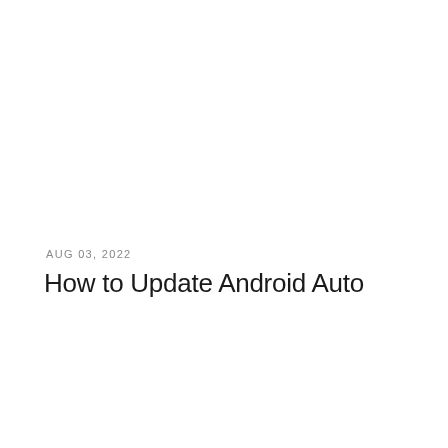AUG 03, 2022
How to Update Android Auto